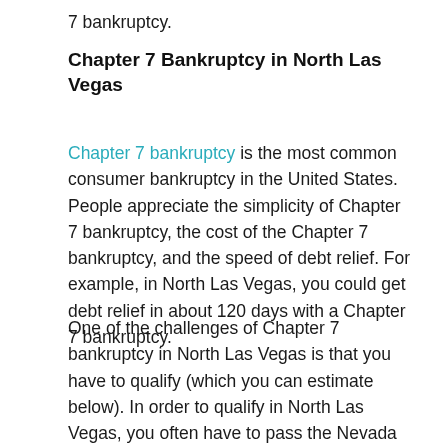7 bankruptcy.
Chapter 7 Bankruptcy in North Las Vegas
Chapter 7 bankruptcy is the most common consumer bankruptcy in the United States. People appreciate the simplicity of Chapter 7 bankruptcy, the cost of the Chapter 7 bankruptcy, and the speed of debt relief. For example, in North Las Vegas, you could get debt relief in about 120 days with a Chapter 7 bankruptcy.
One of the challenges of Chapter 7 bankruptcy in North Las Vegas is that you have to qualify (which you can estimate below). In order to qualify in North Las Vegas, you often have to pass the Nevada bankruptcy means test. You can estimate that qualification below in North Las Vegas. Let’s